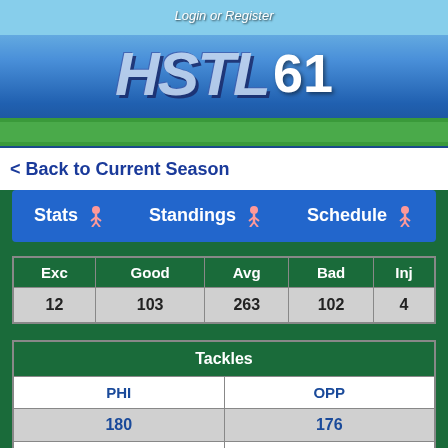[Figure (screenshot): HSTL season 61 website header with stadium crowd background and logo]
Login or Register
< Back to Current Season
| Stats | Standings | Schedule |
| --- | --- | --- |
| Exc | Good | Avg | Bad | Inj |
| --- | --- | --- | --- | --- |
| 12 | 103 | 263 | 102 | 4 |
| Tackles | PHI | OPP |
| --- | --- | --- |
| 180 | 176 |
| Fumbles | Fumbles Lost |
| PHI | OPP | PHI | OPP |